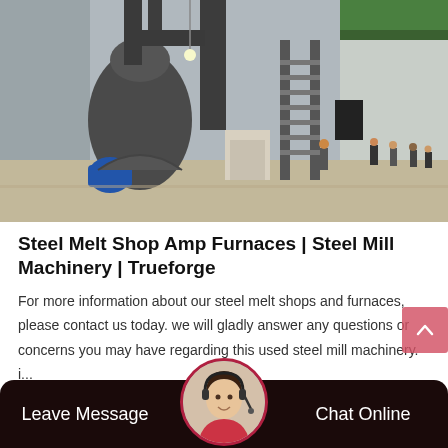[Figure (photo): Industrial steel melt shop interior showing large furnace equipment with pipes, cyclone dust collectors, a metal staircase, and workers walking in the background inside a large factory building.]
Steel Melt Shop Amp Furnaces | Steel Mill Machinery | Trueforge
For more information about our steel melt shops and furnaces, please contact us today. we will gladly answer any questions or concerns you may have regarding this used steel mill machinery. i...
Leave Message   Chat Online